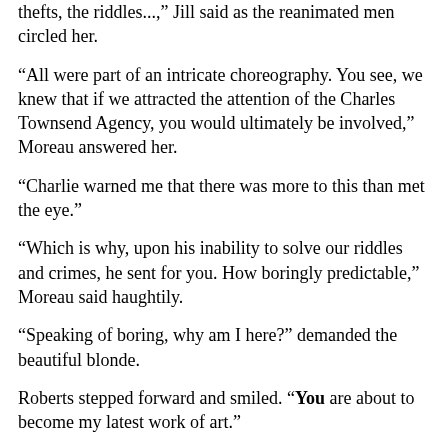thefts, the riddles...," Jill said as the reanimated men circled her.
"All were part of an intricate choreography. You see, we knew that if we attracted the attention of the Charles Townsend Agency, you would ultimately be involved," Moreau answered her.
"Charlie warned me that there was more to this than met the eye."
"Which is why, upon his inability to solve our riddles and crimes, he sent for you. How boringly predictable," Moreau said haughtily.
"Speaking of boring, why am I here?" demanded the beautiful blonde.
Roberts stepped forward and smiled. "You are about to become my latest work of art."
Jill simply looked at him, puzzled.   "What are…?"
The voice from the intercom interrupted. "Several people know that my friend here plans to open his Los Angeles exhibit tonight by unveiling for the first time a new statue of a Laker Girl cheerleader," Moreau explained. "I shall be there for the unveiling as will you, Jill, delicately and permanently frozen in place by a minute stream of electrons controlled by a miniaturized neural impulse modulator, developed by that brilliant neurophysiologist,